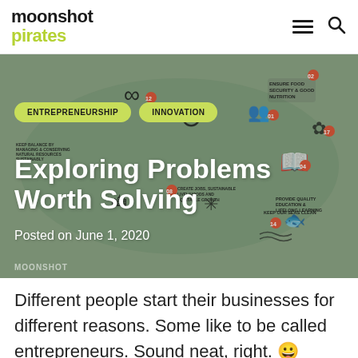moonshot pirates
[Figure (infographic): Moonshot Pirates infographic showing global challenges/SDGs as icons on a world map background, with tags ENTREPRENEURSHIP and INNOVATION, title 'Exploring Problems Worth Solving', date 'Posted on June 1, 2020', watermark 'moonshot']
Different people start their businesses for different reasons. Some like to be called entrepreneurs. Sound neat, right. 😀 Some do it out of the desire to make a